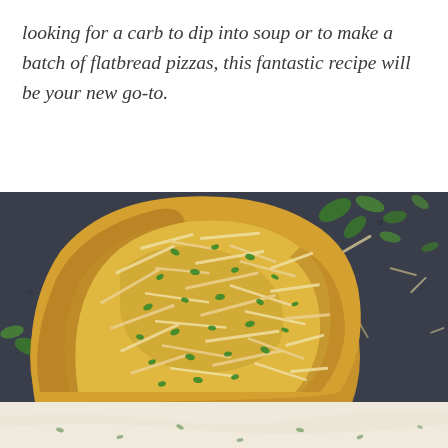looking for a carb to dip into soup or to make a batch of flatbread pizzas, this fantastic recipe will be your new go-to.
[Figure (photo): Overhead close-up photo of a golden-baked naan flatbread topped with shredded cheese and fresh chopped parsley/herbs, on a dark slate surface. Lower portion shows a creamy white sauce with herbs.]